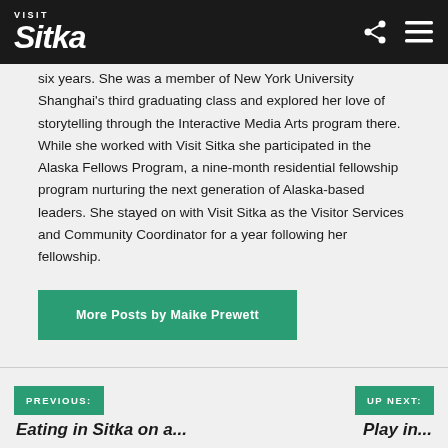Visit Sitka
six years. She was a member of New York University Shanghai's third graduating class and explored her love of storytelling through the Interactive Media Arts program there. While she worked with Visit Sitka she participated in the Alaska Fellows Program, a nine-month residential fellowship program nurturing the next generation of Alaska-based leaders. She stayed on with Visit Sitka as the Visitor Services and Community Coordinator for a year following her fellowship.
More Posts by Maike Prewett
PREVIOUS: Eating in Sitka on a...  UP NEXT: Play in...